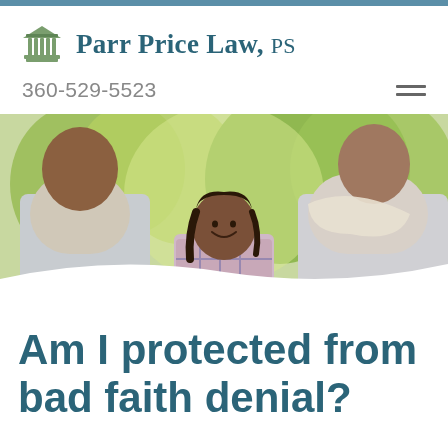Parr Price Law, PS
360-529-5523
[Figure (photo): Family photo showing a man and woman walking with a smiling young girl between them outdoors with green trees in the background]
Am I protected from bad faith denial?